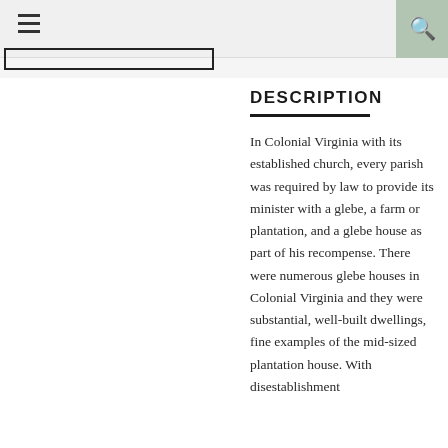DESCRIPTION
In Colonial Virginia with its established church, every parish was required by law to provide its minister with a glebe, a farm or plantation, and a glebe house as part of his recompense. There were numerous glebe houses in Colonial Virginia and they were substantial, well-built dwellings, fine examples of the mid-sized plantation house. With disestablishment